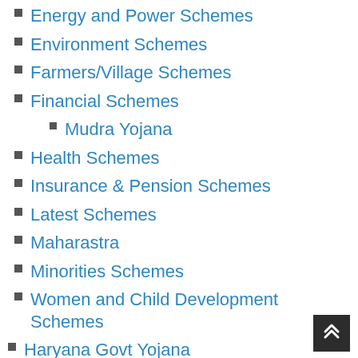Energy and Power Schemes
Environment Schemes
Farmers/Village Schemes
Financial Schemes
Mudra Yojana
Health Schemes
Insurance & Pension Schemes
Latest Schemes
Maharastra
Minorities Schemes
Women and Child Development Schemes
Haryana Govt Yojana
health and hygiene
Hindi